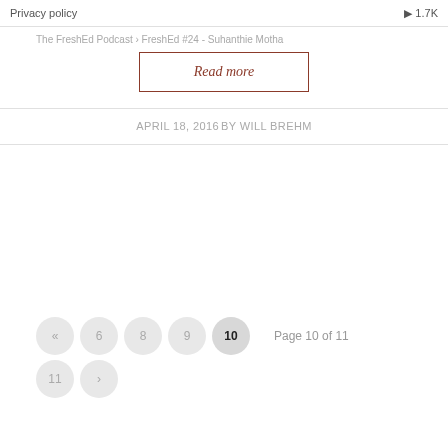Privacy policy · 1.7K
The FreshEd Podcast · FreshEd #24 - Suhanthie Motha
Read more
APRIL 18, 2016 BY WILL BREHM
« 6 8 9 10 11 › — Page 10 of 11